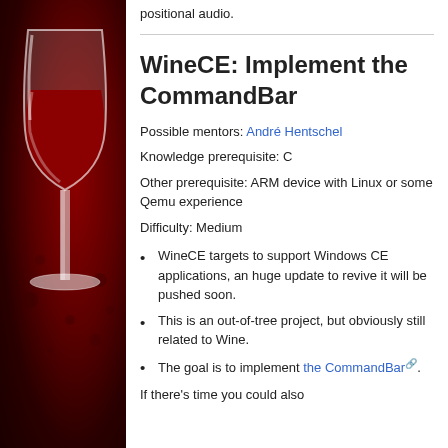[Figure (illustration): Wine logo - a white wine glass with red wine on a dark red/maroon background with decorative elements]
positional audio.
WineCE: Implement the CommandBar
Possible mentors: André Hentschel
Knowledge prerequisite: C
Other prerequisite: ARM device with Linux or some Qemu experience
Difficulty: Medium
WineCE targets to support Windows CE applications, an huge update to revive it will be pushed soon.
This is an out-of-tree project, but obviously still related to Wine.
The goal is to implement the CommandBar.
If there's time you could also